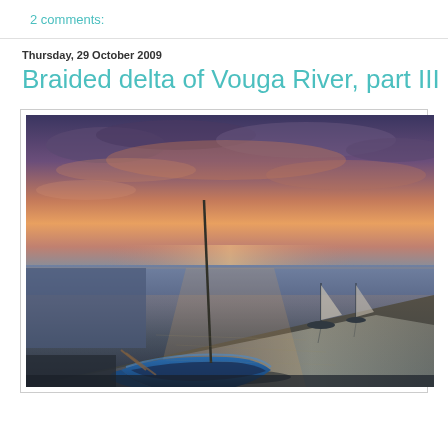2 comments:
Thursday, 29 October 2009
Braided delta of Vouga River, part III
[Figure (photo): Sunset photograph of a blue wooden boat beached on a sandbar at a river delta. The sky shows vivid orange, pink, and purple hues from the sunset. Calm water reflects the sunset colors. In the background, sailboats are moored in the water. The foreground features a blue traditional boat with oars and a tall mast.]